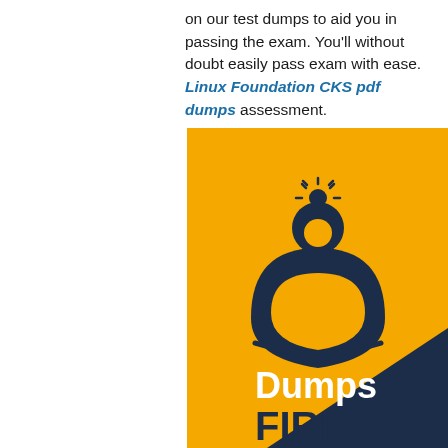on our test dumps to aid you in passing the exam. You'll without doubt easily pass exam with ease. Linux Foundation CKS pdf dumps assessment.
[Figure (logo): DumpsFire logo on yellow background with dark navy icon showing stylized person figure with sun rays, text 'Dumps FIRE' in white and dark navy. Bottom right has a dark diagonal section with a photo partially visible.]